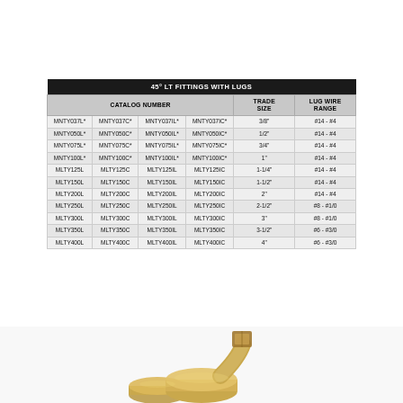| CATALOG NUMBER |  |  |  | TRADE SIZE | LUG WIRE RANGE |
| --- | --- | --- | --- | --- | --- |
| MNTY037L* | MNTY037C* | MNTY037IL* | MNTY037IC* | 3/8" | #14 - #4 |
| MNTY050L* | MNTY050C* | MNTY050IL* | MNTY050IC* | 1/2" | #14 - #4 |
| MNTY075L* | MNTY075C* | MNTY075IL* | MNTY075IC* | 3/4" | #14 - #4 |
| MNTY100L* | MNTY100C* | MNTY100IL* | MNTY100IC* | 1" | #14 - #4 |
| MLTY125L | MLTY125C | MLTY125IL | MLTY125IC | 1-1/4" | #14 - #4 |
| MLTY150L | MLTY150C | MLTY150IL | MLTY150IC | 1-1/2" | #14 - #4 |
| MLTY200L | MLTY200C | MLTY200IL | MLTY200IC | 2" | #14 - #4 |
| MLTY250L | MLTY250C | MLTY250IL | MLTY250IC | 2-1/2" | #8 - #1/0 |
| MLTY300L | MLTY300C | MLTY300IL | MLTY300IC | 3" | #8 - #1/0 |
| MLTY350L | MLTY350C | MLTY350IL | MLTY350IC | 3-1/2" | #6 - #3/0 |
| MLTY400L | MLTY400C | MLTY400IL | MLTY400IC | 4" | #6 - #3/0 |
[Figure (photo): Partial view of a brass/metal 45-degree LT fitting with lugs at the bottom of the page]